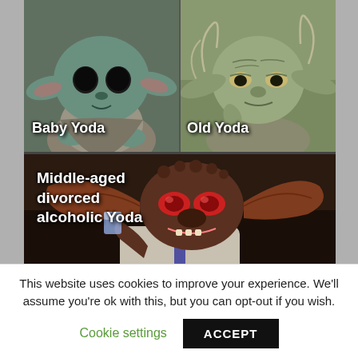[Figure (illustration): A three-panel meme showing Baby Yoda (top-left), Old Yoda (top-right), and a gremlin labeled Middle-aged divorced alcoholic Yoda (bottom). Watermark @encino_mane in top-right corner.]
This website uses cookies to improve your experience. We'll assume you're ok with this, but you can opt-out if you wish.
Cookie settings  ACCEPT